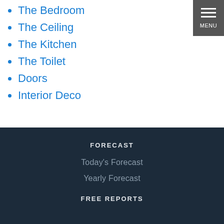The Bedroom
The Ceiling
The Kitchen
The Toilet
Doors
Interior Deco
FORECAST
Today's Forecast
Yearly Forecast
FREE REPORTS